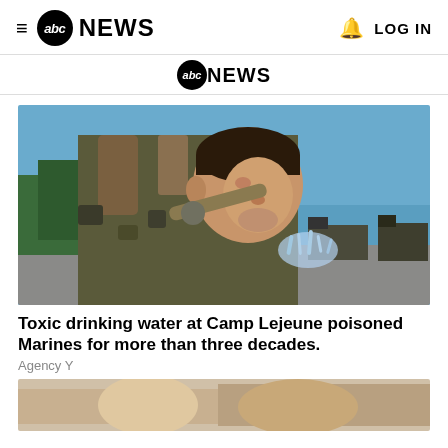≡ abc NEWS   🔔 LOG IN
[Figure (logo): ABC News secondary logo bar centered]
[Figure (photo): A Marine in camouflage uniform drinking from a hose outdoors, with military vehicles and water in the background]
Toxic drinking water at Camp Lejeune poisoned Marines for more than three decades.
Agency Y
[Figure (photo): Partial second article photo at bottom of page, cropped]